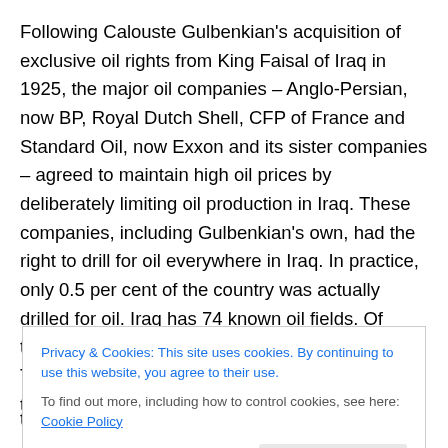Following Calouste Gulbenkian's acquisition of exclusive oil rights from King Faisal of Iraq in 1925, the major oil companies – Anglo-Persian, now BP, Royal Dutch Shell, CFP of France and Standard Oil, now Exxon and its sister companies – agreed to maintain high oil prices by deliberately limiting oil production in Iraq. These companies, including Gulbenkian's own, had the right to drill for oil everywhere in Iraq. In practice, only 0.5 per cent of the country was actually drilled for oil. Iraq has 74 known oil fields. Of these, only fifteen were producing oil in 2006. There are 526 known pools of oil. Only 125 of these...
Privacy & Cookies: This site uses cookies. By continuing to use this website, you agree to their use. To find out more, including how to control cookies, see here: Cookie Policy
three times the amount in 2002.